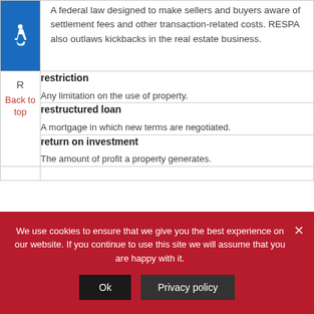|  | Term / Definition |
| --- | --- |
| [accessibility icon] | A federal law designed to make sellers and buyers aware of settlement fees and other transaction-related costs. RESPA also outlaws kickbacks in the real estate business. |
| R
Back to top | restriction
Any limitation on the use of property. |
|  | restructured loan
A mortgage in which new terms are negotiated. |
|  | return on investment
The amount of profit a property generates. |
We use cookies to ensure that we give you the best experience on our website. If you continue to use this site we will assume that you are happy with it.